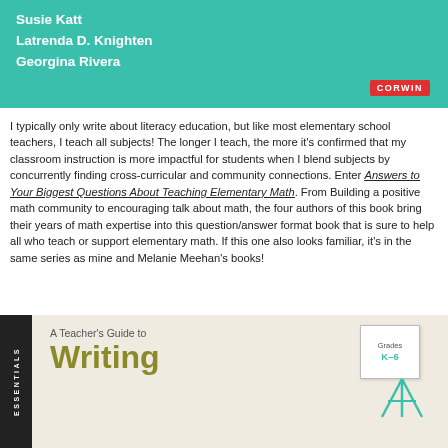[Figure (illustration): Teal/green book cover banner showing authors: Susie Katt, Latrenda D. Knighten, Georgina Rivera, with CORWIN logo badge in red bottom right]
I typically only write about literacy education, but like most elementary school teachers, I teach all subjects! The longer I teach, the more it's confirmed that my classroom instruction is more impactful for students when I blend subjects by concurrently finding cross-curricular and community connections. Enter Answers to Your Biggest Questions About Teaching Elementary Math. From Building a positive math community to encouraging talk about math, the four authors of this book bring their years of math expertise into this question/answer format book that is sure to help all who teach or support elementary math. If this one also looks familiar, it's in the same series as mine and Melanie Meehan's books!
[Figure (illustration): Book cover for 'A Teacher's Guide to Writing' for Grades K-6, with olive/yellow-green bold title text on a beige background with dark spine labeled ESSENTIALS, and an easel graphic with grades badge]